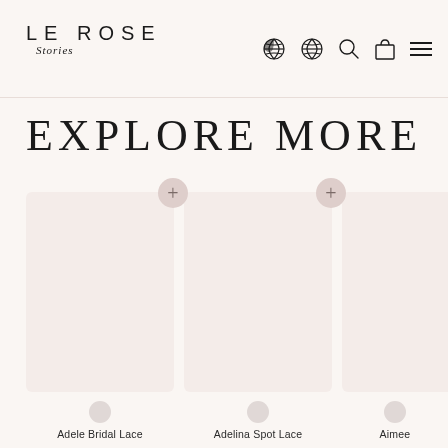LE ROSE Stories — navigation header with logo and icons
EXPLORE MORE
[Figure (screenshot): Product card for Adele Bridal Lace — blank product image placeholder with pink background and plus button]
Adele Bridal Lace
[Figure (screenshot): Product card for Adelina Spot Lace — blank product image placeholder with pink background and plus button]
Adelina Spot Lace
[Figure (screenshot): Partial product card for Aimee — partially visible on right edge]
Aimee